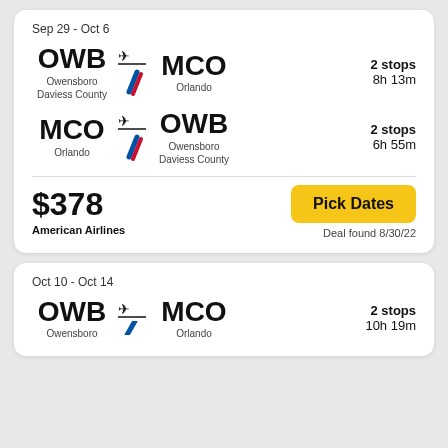Sep 29 - Oct 6
OWB → MCO
Owensboro Daviess County → Orlando
2 stops
8h 13m
MCO → OWB
Orlando → Owensboro Daviess County
2 stops
6h 55m
$378
American Airlines
Pick Dates
Deal found 8/30/22
Oct 10 - Oct 14
OWB → MCO
Owensboro → Orlando
2 stops
10h 19m